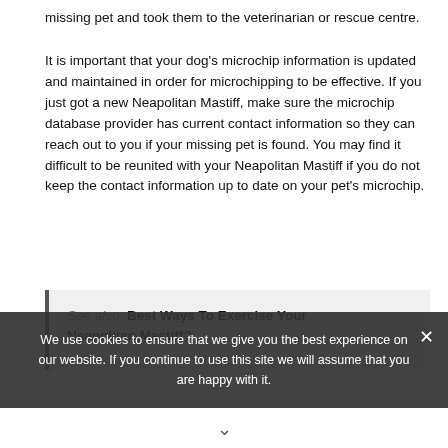missing pet and took them to the veterinarian or rescue centre.
It is important that your dog's microchip information is updated and maintained in order for microchipping to be effective. If you just got a new Neapolitan Mastiff, make sure the microchip database provider has current contact information so they can reach out to you if your missing pet is found. You may find it difficult to be reunited with your Neapolitan Mastiff if you do not keep the contact information up to date on your pet's microchip.
See also  Best Ways To Exercise Your Neapolitan Mastiff?
We use cookies to ensure that we give you the best experience on our website. If you continue to use this site we will assume that you are happy with it.